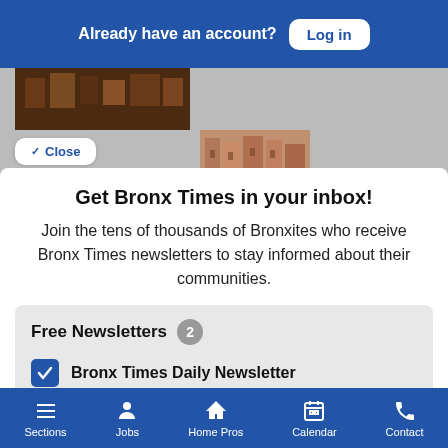Already have an account? Log in
[Figure (screenshot): Partial view of apartment building photos in background]
Close
Get Bronx Times in your inbox!
Join the tens of thousands of Bronxites who receive Bronx Times newsletters to stay informed about their communities.
Free Newsletters 2
Bronx Times Daily Newsletter
Bronx Times Events
Sections  Jobs  Home Pros  Calendar  Contact